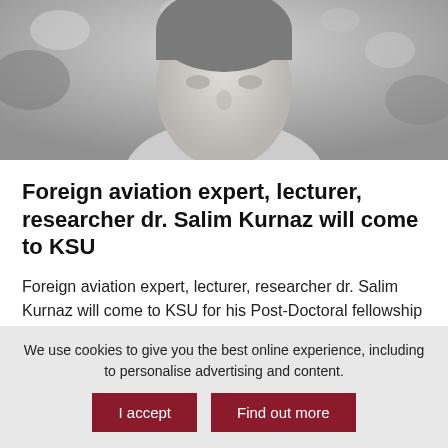[Figure (photo): Black and white portrait photo of a man (dr. Salim Kurnaz), cropped showing face and upper body, wearing a light shirt, with blurred outdoor background.]
Foreign aviation expert, lecturer, researcher dr. Salim Kurnaz will come to KSU
Foreign aviation expert, lecturer, researcher dr. Salim Kurnaz will come to KSU for his Post-Doctoral fellowship for 1 year period!
We use cookies to give you the best online experience, including to personalise advertising and content.